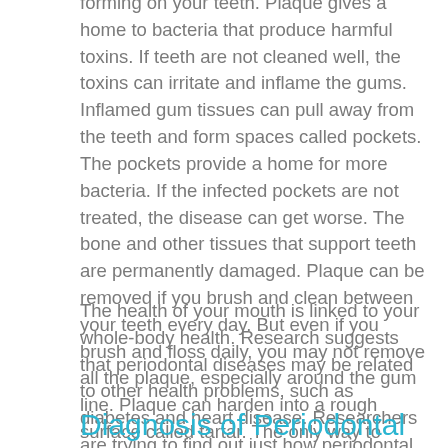forming on your teeth. Plaque gives a home to bacteria that produce harmful toxins. If teeth are not cleaned well, the toxins can irritate and inflame the gums. Inflamed gum tissues can pull away from the teeth and form spaces called pockets. The pockets provide a home for more bacteria. If the infected pockets are not treated, the disease can get worse. The bone and other tissues that support teeth are permanently damaged. Plaque can be removed if you brush and clean between your teeth every day. But even if you brush and floss daily, you may not remove all the plaque, especially around the gum line. Plaque can harden into a rough surface called tartar. The only way to remove tartar is with a professional dental cleaning.
The health of your mouth is linked to your whole-body health. Research suggests that periodontal diseases may be related to other health problems, such as diabetes and heart disease. Researchers are trying to find out just how periodontal bacteria are related to overall health.
Diagnosis of Periodontal